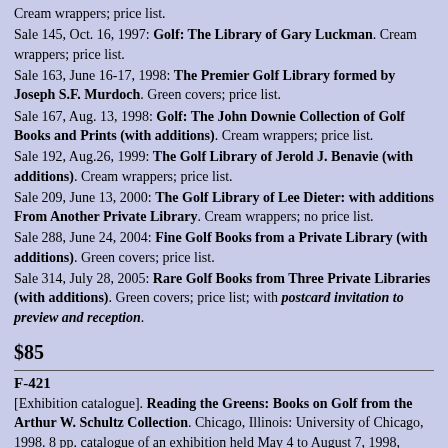Cream wrappers; price list. Sale 145, Oct. 16, 1997: Golf: The Library of Gary Luckman. Cream wrappers; price list. Sale 163, June 16-17, 1998: The Premier Golf Library formed by Joseph S.F. Murdoch. Green covers; price list. Sale 167, Aug. 13, 1998: Golf: The John Downie Collection of Golf Books and Prints (with additions). Cream wrappers; price list. Sale 192, Aug.26, 1999: The Golf Library of Jerold J. Benavie (with additions). Cream wrappers; price list. Sale 209, June 13, 2000: The Golf Library of Lee Dieter: with additions From Another Private Library. Cream wrappers; no price list. Sale 288, June 24, 2004: Fine Golf Books from a Private Library (with additions). Green covers; price list. Sale 314, July 28, 2005: Rare Golf Books from Three Private Libraries (with additions). Green covers; price list; with postcard invitation to preview and reception.
$85
F-421
[Exhibition catalogue]. Reading the Greens: Books on Golf from the Arthur W. Schultz Collection. Chicago, Illinois: University of Chicago, 1998. 8 pp. catalogue of an exhibition held May 4 to August 7, 1998, naming more than 170 items dating from the 1880s to the 1990s. Well illustrated, large, stapled, heavy card